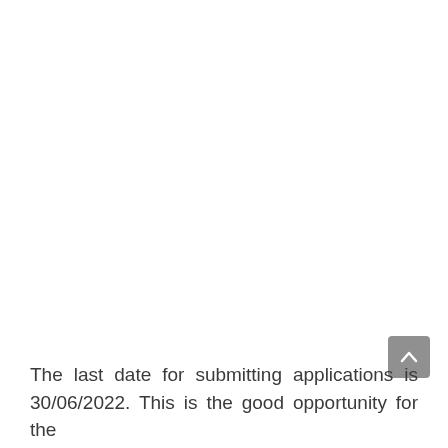The last date for submitting applications is 30/06/2022. This is the good opportunity for the